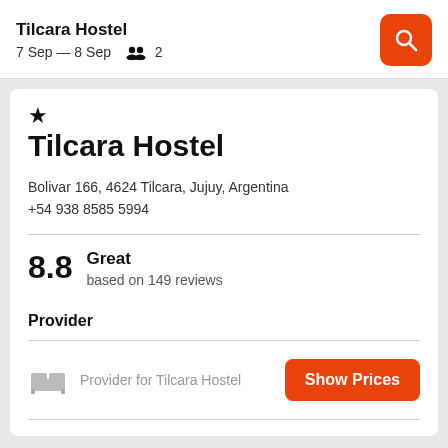Tilcara Hostel — 7 Sep — 8 Sep, 2 guests
Tilcara Hostel
Bolivar 166, 4624 Tilcara, Jujuy, Argentina
+54 938 8585 5994
8.8  Great  based on 149 reviews
Provider
Provider for Tilcara Hostel